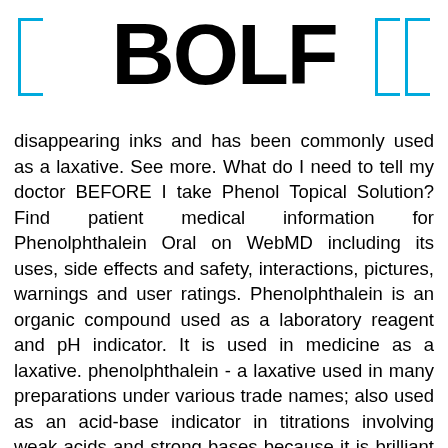BOLF
disappearing inks and has been commonly used as a laxative. See more. What do I need to tell my doctor BEFORE I take Phenol Topical Solution? Find patient medical information for Phenolphthalein Oral on WebMD including its uses, side effects and safety, interactions, pictures, warnings and user ratings. Phenolphthalein is an organic compound used as a laboratory reagent and pH indicator. It is used in medicine as a laxative. phenolphthalein - a laxative used in many preparations under various trade names; also used as an acid-base indicator in titrations involving weak acids and strong bases because it is brilliant red at high alkalinity and colorless below pH 8 Selected from data included with permission and copyrighted by First Databank, Inc. Learn more about Phenolphthalein ... You should consult with a medical professional if you have any questions about your health. Phenolphthalein is used in toys as a component of disappearing inks and has been commonly used as a laxative. Also high 8 to 10 above refers to above the 1 above the 1 above that